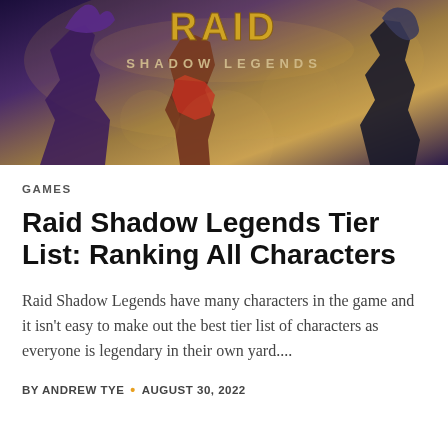[Figure (illustration): Raid Shadow Legends promotional banner image showing fantasy game characters including warriors and mages with the game logo text 'RAID SHADOW LEGENDS' overlaid on a dramatic action scene]
GAMES
Raid Shadow Legends Tier List: Ranking All Characters
Raid Shadow Legends have many characters in the game and it isn't easy to make out the best tier list of characters as everyone is legendary in their own yard....
BY ANDREW TYE • AUGUST 30, 2022